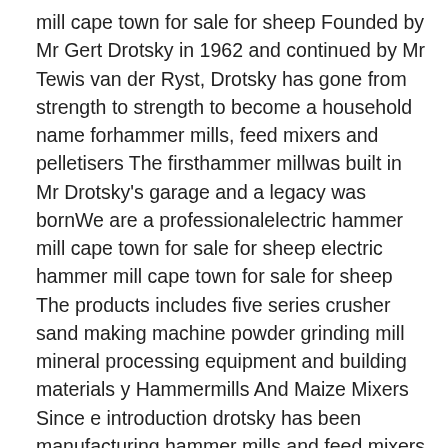mill cape town for sale for sheep Founded by Mr Gert Drotsky in 1962 and continued by Mr Tewis van der Ryst, Drotsky has gone from strength to strength to become a household name forhammer mills, feed mixers and pelletisers The firsthammer millwas built in Mr Drotsky's garage and a legacy was bornWe are a professionalelectric hammer mill cape town for sale for sheep electric hammer mill cape town for sale for sheep The products includes five series crusher sand making machine powder grinding mill mineral processing equipment and building materials y Hammermills And Maize Mixers Since e introduction drotsky has been manufacturing hammer mills and feed mixers since 1962 over a period of more thanelectric hammer mill cape town for sale for sheephammer mill cape town for sale for sheep Trojan TGS 228E MegaMill Hammer mill Grinding mill This is a75kw10 HP 380V electric belt driven hammer mill This hammer mill has both a grinding and a shredding function Shredding of any dry or green product such as cornmaizesugar canebranches and any kind of green crop used for animal feedhammer